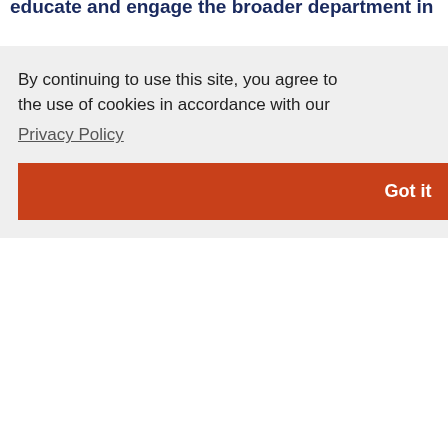educate and engage the broader department in
By continuing to use this site, you agree to the use of cookies in accordance with our
Privacy Policy
Got it
and Inclusion links
Fellowships for Racial and Ethnic Minority Graduate Students
Equal Opportunity, Inclusion, and Resolution Services
Office of Multicultural Affairs
Women in Science and Engineering
LGBT Resource Center
Office of Disability Services